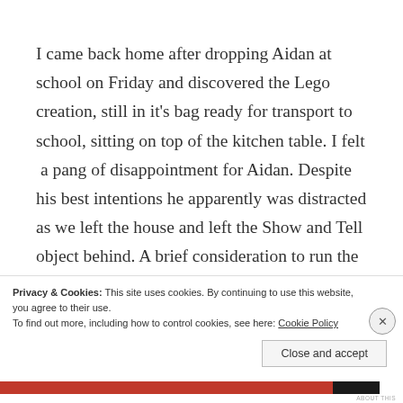I came back home after dropping Aidan at school on Friday and discovered the Lego creation, still in it's bag ready for transport to school, sitting on top of the kitchen table. I felt  a pang of disappointment for Aidan. Despite his best intentions he apparently was distracted as we left the house and left the Show and Tell object behind. A brief consideration to run the bag to school
Privacy & Cookies: This site uses cookies. By continuing to use this website, you agree to their use.
To find out more, including how to control cookies, see here: Cookie Policy